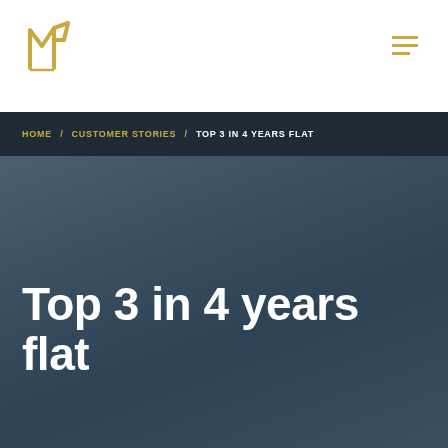HOME / CUSTOMER STORIES / TOP 3 IN 4 YEARS FLAT
Top 3 in 4 years flat